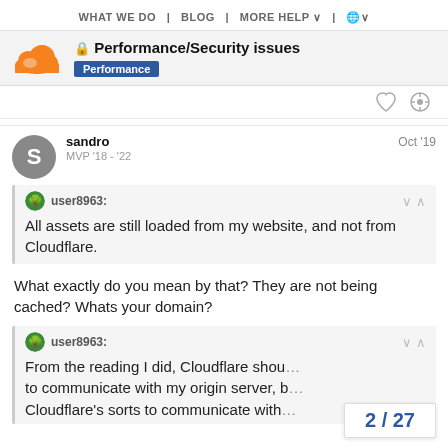WHAT WE DO  |  BLOG  |  MORE HELP  |  🌐
Performance/Security issues
Performance
sandro  MVP '18 - '22  Oct '19
user8963: All assets are still loaded from my website, and not from Cloudflare.
What exactly do you mean by that? They are not being cached? Whats your domain?
user8963: From the reading I did, Cloudflare should to communicate with my origin server, b... Cloudflare's sorts to communicate with...
2 / 27